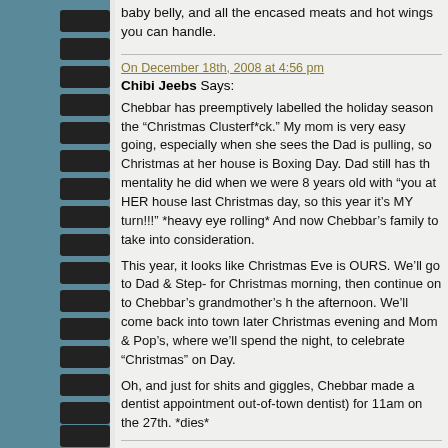baby belly, and all the encased meats and hot wings you can handle.
On December 18th, 2008 at 4:56 pm
Chibi Jeebs Says:
Chebbar has preemptively labelled the holiday season the “Christmas Clusterf*ck.” My mom is very easy going, especially when she sees the Dad is pulling, so Christmas at her house is Boxing Day. Dad still has the mentality he did when we were 8 years old with “you at HER house last Christmas day, so this year it’s MY turn!!!” *heavy eye rolling* And now Chebbar’s family to take into consideration.
This year, it looks like Christmas Eve is OURS. We’ll go to Dad & Step- for Christmas morning, then continue on to Chebbar’s grandmother’s ho the afternoon. We’ll come back into town later Christmas evening and h Mom & Pop’s, where we’ll spend the night, to celebrate “Christmas” on Day.
Oh, and just for shits and giggles, Chebbar made a dentist appointment out-of-town dentist) for 11am on the 27th. *dies*
On December 20th, 2008 at 4:48 pm